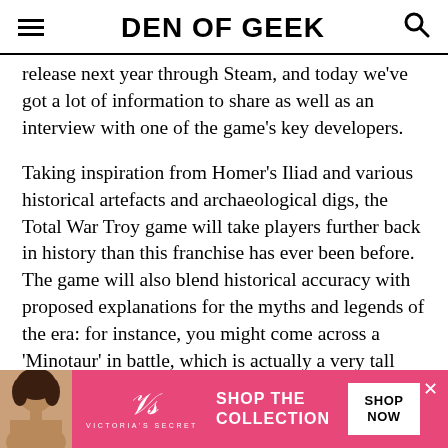DEN OF GEEK
release next year through Steam, and today we've got a lot of information to share as well as an interview with one of the game's key developers.
Taking inspiration from Homer's Iliad and various historical artefacts and archaeological digs, the Total War Troy game will take players further back in history than this franchise has ever been before. The game will also blend historical accuracy with proposed explanations for the myths and legends of the era: for instance, you might come across a 'Minotaur' in battle, which is actually a very tall person who wears an animal hide to intimidate their enemies. You will also have to curry the favour of gods if you wish to succeed, as well as getting to grips with a
[Figure (infographic): Victoria's Secret advertisement banner with pink background, model photo, VS logo, 'SHOP THE COLLECTION' text, and 'SHOP NOW' button]